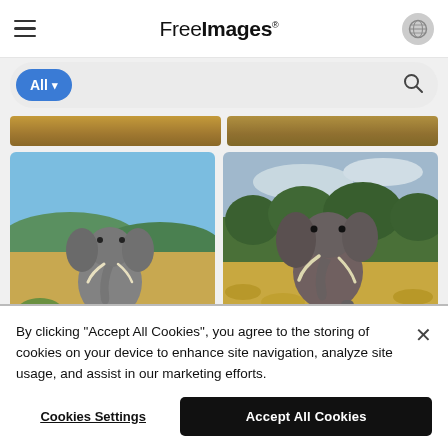FreeImages
[Figure (photo): Search bar with All dropdown and magnifying glass icon]
[Figure (photo): Partial top strip of two landscape/savanna photos]
[Figure (photo): African elephant walking toward camera in open savanna with blue sky and green vegetation]
[Figure (photo): African elephant facing camera in bush/forest setting with grey cloudy sky and green trees]
By clicking “Accept All Cookies”, you agree to the storing of cookies on your device to enhance site navigation, analyze site usage, and assist in our marketing efforts.
Cookies Settings
Accept All Cookies